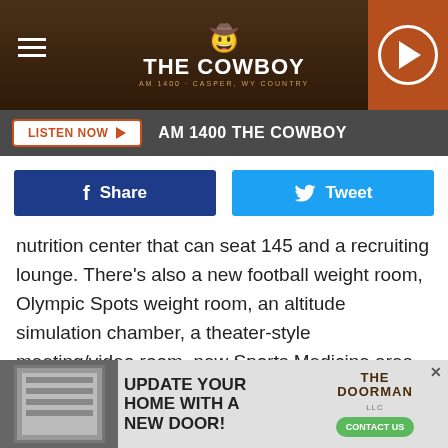THE COWBOY — AM 1400 THE COWBOY
LISTEN NOW ▶   AM 1400 THE COWBOY
[Figure (other): Facebook Share button and Twitter Tweet button]
nutrition center that can seat 145 and a recruiting lounge. There's also a new football weight room, Olympic Spots weight room, an altitude simulation chamber, a theater-style meeting/video room, new Sports Medicine area, recovery pools, office space, meeting rooms and even a barbershop.
ADVERTISEMENT
[Figure (other): Advertisement banner: UPDATE YOUR HOME WITH A NEW DOOR! — The Doorman — CONTACT US]